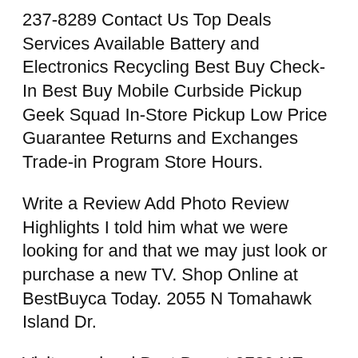237-8289 Contact Us Top Deals Services Available Battery and Electronics Recycling Best Buy Check-In Best Buy Mobile Curbside Pickup Geek Squad In-Store Pickup Low Price Guarantee Returns and Exchanges Trade-in Program Store Hours.
Write a Review Add Photo Review Highlights I told him what we were looking for and that we may just look or purchase a new TV. Shop Online at BestBuyca Today. 2055 N Tomahawk Island Dr.
Visit your local Best Buy at 9739 NE Cascades Pkwy in Portland OR for electronics computers appliances cell phones video games more new tech. Best Buy in Portland TX About Search Results SORT In 2 reviews